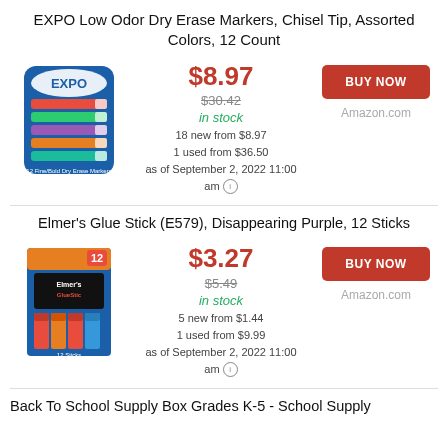EXPO Low Odor Dry Erase Markers, Chisel Tip, Assorted Colors, 12 Count
$8.97 price, $30.42 was price, in stock, 18 new from $8.97, 1 used from $36.50, as of September 2, 2022 11:00 am
Elmer's Glue Stick (E579), Disappearing Purple, 12 Sticks
$3.27 price, $5.49 was price, in stock, 5 new from $1.44, 1 used from $9.99, as of September 2, 2022 11:00 am
Back To School Supply Box Grades K-5 - School Supply